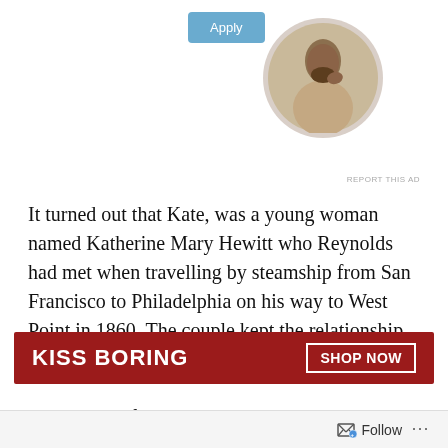[Figure (other): Apply button (blue) and circular profile photo of a man thinking/writing, part of an advertisement banner at the top of the page]
REPORT THIS AD
It turned out that Kate, was a young woman named Katherine Mary Hewitt who Reynolds had met when travelling by steamship from San Francisco to Philadelphia on his way to West Point in 1860. The couple kept the relationship secret, possibly because Reynolds and his family were Protestant and she was a recent convert to the Catholic faith and at the time there was still a tremendous prejudice against Catholics in the country. Despite the fact that the anti-immigrant and virulently anti-
Advertisements
[Figure (other): Advertisement banner with dark red background reading 'KISS BORING' on the left and 'SHOP NOW' button on the right, with a person's face visible]
Follow ...